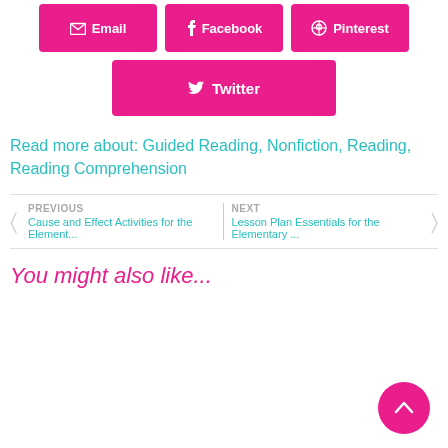[Figure (other): Row of three share buttons: Email, Facebook, Pinterest (pink/magenta background with white icons and text)]
[Figure (other): Twitter share button (pink/magenta background with white bird icon and text)]
Read more about: Guided Reading, Nonfiction, Reading, Reading Comprehension
PREVIOUS
Cause and Effect Activities for the Element...
NEXT
Lesson Plan Essentials for the Elementary ...
You might also like...
[Figure (other): Scroll-to-top button: pink circle with white upward arrow]